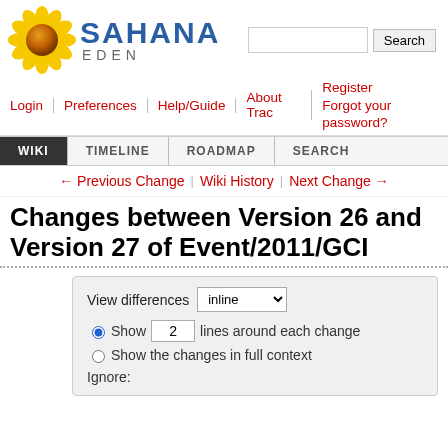[Figure (logo): Sahana Eden sunflower logo with search bar]
Login | Preferences | Help/Guide | About Trac | Register Forgot your password?
WIKI | TIMELINE | ROADMAP | SEARCH
← Previous Change | Wiki History | Next Change →
Changes between Version 26 and Version 27 of Event/2011/GCI
View differences inline
● Show 2 lines around each change
○ Show the changes in full context
Ignore: